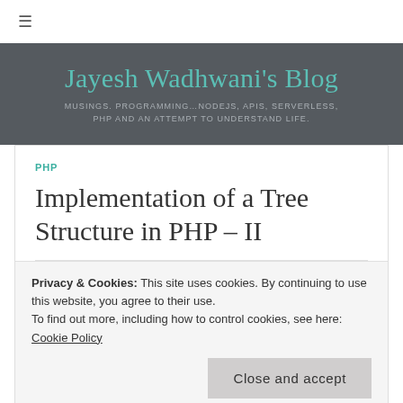≡
Jayesh Wadhwani's Blog
MUSINGS. PROGRAMMING…NODEJS, APIS, SERVERLESS, PHP AND AN ATTEMPT TO UNDERSTAND LIFE.
PHP
Implementation of a Tree Structure in PHP – II
Privacy & Cookies: This site uses cookies. By continuing to use this website, you agree to their use.
To find out more, including how to control cookies, see here: Cookie Policy
Close and accept